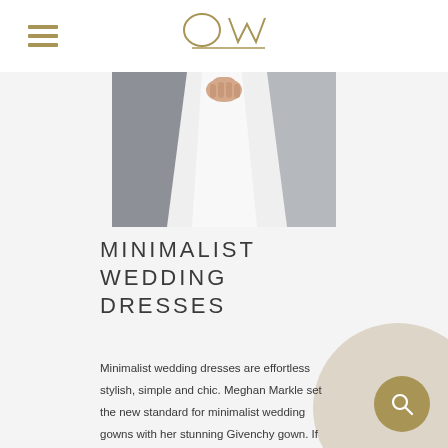OW (logo)
[Figure (photo): A wedding dress photo showing a white minimalist gown, close up of the skirt, with someone holding the fabric in a grey/blue background]
MINIMALIST WEDDING DRESSES
Minimalist wedding dresses are effortless stylish, simple and chic. Meghan Markle set the new standard for minimalist wedding gowns with her stunning Givenchy gown. If minimalist style is